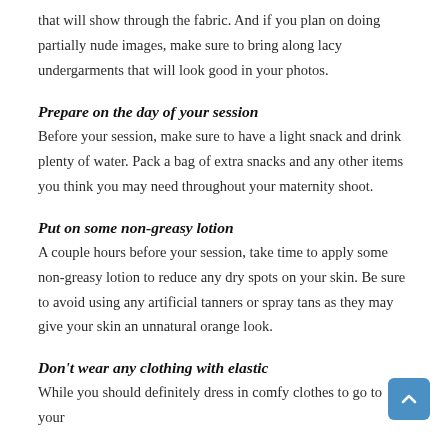that will show through the fabric. And if you plan on doing partially nude images, make sure to bring along lacy undergarments that will look good in your photos.
Prepare on the day of your session
Before your session, make sure to have a light snack and drink plenty of water. Pack a bag of extra snacks and any other items you think you may need throughout your maternity shoot.
Put on some non-greasy lotion
A couple hours before your session, take time to apply some non-greasy lotion to reduce any dry spots on your skin. Be sure to avoid using any artificial tanners or spray tans as they may give your skin an unnatural orange look.
Don't wear any clothing with elastic
While you should definitely dress in comfy clothes to go to your